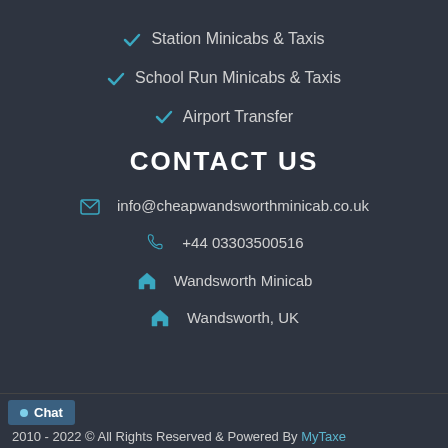Station Minicabs & Taxis
School Run Minicabs & Taxis
Airport Transfer
CONTACT US
info@cheapwandsworthminicab.co.uk
+44 03303500516
Wandsworth Minicab
Wandsworth, UK
2010 - 2022 © All Rights Reserved & Powered By MyTaxe